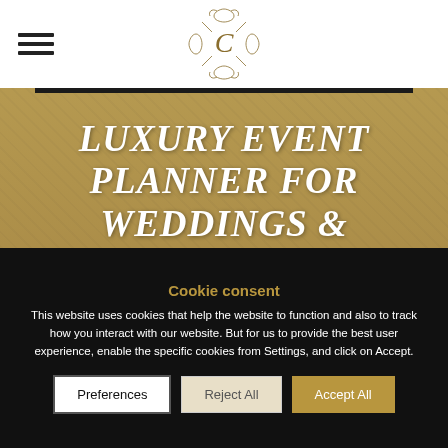[Figure (logo): Decorative ornamental letter C logo in gold/brown with swirl embellishments]
LUXURY EVENT PLANNER FOR WEDDINGS & PARTIES.
UK AND BEYOND
Cookie consent
This website uses cookies that help the website to function and also to track how you interact with our website. But for us to provide the best user experience, enable the specific cookies from Settings, and click on Accept.
Preferences | Reject All | Accept All